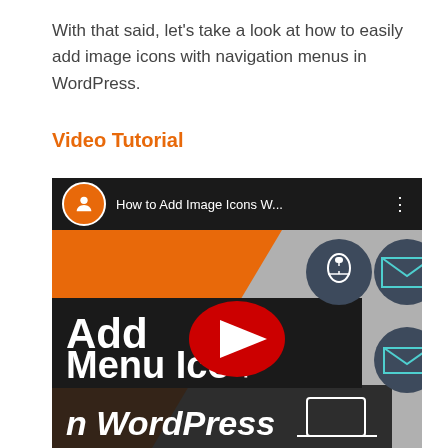With that said, let's take a look at how to easily add image icons with navigation menus in WordPress.
Video Tutorial
[Figure (screenshot): YouTube video thumbnail showing 'How to Add Image Icons W...' with wpbeginner logo avatar. The thumbnail shows bold text 'Add Menu Icons in WordPress' with a red YouTube play button in the center, orange and dark graphic design elements, and circular dark icons with white symbols (mouse, email icons) on a grey background.]